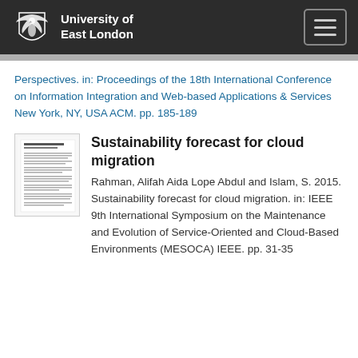University of East London
Perspectives. in: Proceedings of the 18th International Conference on Information Integration and Web-based Applications & Services New York, NY, USA ACM. pp. 185-189
[Figure (other): Thumbnail image of a research paper document]
Sustainability forecast for cloud migration
Rahman, Alifah Aida Lope Abdul and Islam, S. 2015. Sustainability forecast for cloud migration. in: IEEE 9th International Symposium on the Maintenance and Evolution of Service-Oriented and Cloud-Based Environments (MESOCA) IEEE. pp. 31-35